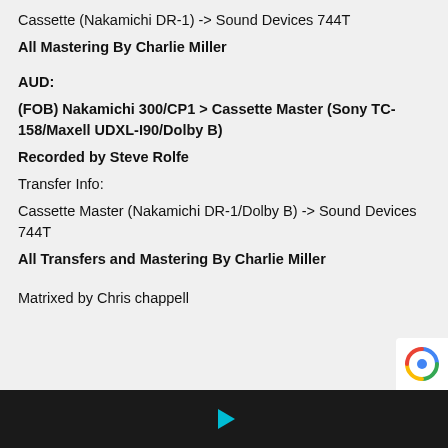Cassette (Nakamichi DR-1) -> Sound Devices 744T
All Mastering By Charlie Miller
AUD:
(FOB) Nakamichi 300/CP1 > Cassette Master (Sony TC-158/Maxell UDXL-I90/Dolby B)
Recorded by Steve Rolfe
Transfer Info:
Cassette Master (Nakamichi DR-1/Dolby B) -> Sound Devices 744T
All Transfers and Mastering By Charlie Miller
Matrixed by Chris chappell
[Figure (other): reCAPTCHA badge in bottom right corner]
[Figure (other): Play button (triangle) on dark footer bar]